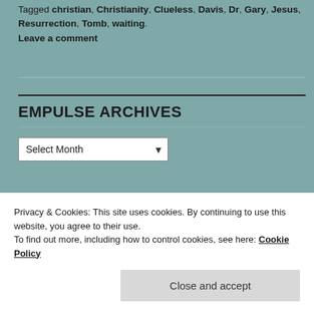Tagged christian, Christianity, Clueless, Davis, Dr, Gary, Jesus, Resurrection, Tomb, waiting.
Leave a comment
EMPULSE ARCHIVES
Select Month (dropdown)
TWITTER UPDATES
Privacy & Cookies: This site uses cookies. By continuing to use this website, you agree to their use. To find out more, including how to control cookies, see here: Cookie Policy
Close and accept